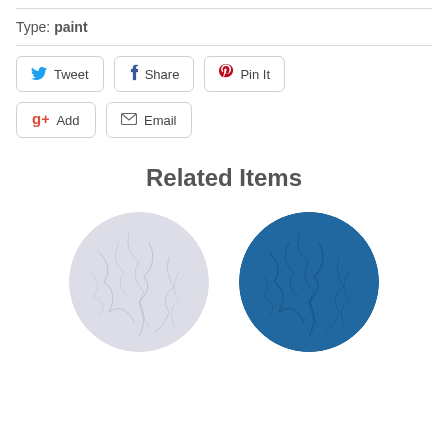Type: paint
[Figure (infographic): Social sharing buttons: Tweet (Twitter), Share (Facebook), Pin It (Pinterest), Add (Google+), Email]
Related Items
[Figure (photo): Two circular photos of pigment powders: one light lavender/white crackled powder on the left, one dark blue crackled powder on the right]